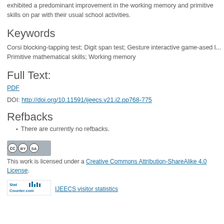exhibited a predominant improvement in the working memory and primitive skills on par with their usual school activities.
Keywords
Corsi blocking-tapping test; Digit span test; Gesture interactive game-ased learning; Primitive mathematical skills; Working memory
Full Text:
PDF
DOI: http://doi.org/10.11591/ijeecs.v21.i2.pp768-775
Refbacks
There are currently no refbacks.
[Figure (logo): Creative Commons Attribution-ShareAlike 4.0 license badge]
This work is licensed under a Creative Commons Attribution-ShareAlike 4.0 License.
[Figure (logo): StatCounter visitor statistics badge]
IJEECS visitor statistics